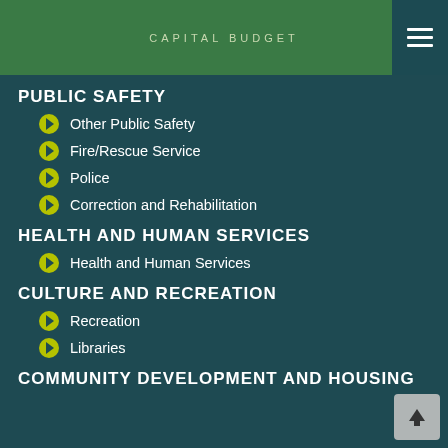CAPITAL BUDGET
PUBLIC SAFETY
Other Public Safety
Fire/Rescue Service
Police
Correction and Rehabilitation
HEALTH AND HUMAN SERVICES
Health and Human Services
CULTURE AND RECREATION
Recreation
Libraries
COMMUNITY DEVELOPMENT AND HOUSING